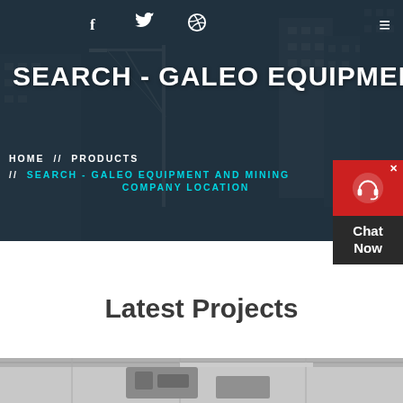[Figure (screenshot): Hero section with dark-overlaid construction/city skyline background photo showing cranes and high-rise buildings under construction]
f  ·  Twitter icon  ·  Dribbble icon  ·  ≡
SEARCH - GALEO EQUIPMENT A
HOME // PRODUCTS // SEARCH - GALEO EQUIPMENT AND MINING COMPANY LOCATION
[Figure (screenshot): Chat Now widget with red top section containing headset icon and dark grey bottom with 'Chat Now' text]
Latest Projects
[Figure (photo): Industrial equipment / mining machinery in a large warehouse or industrial facility, visible at bottom of page]